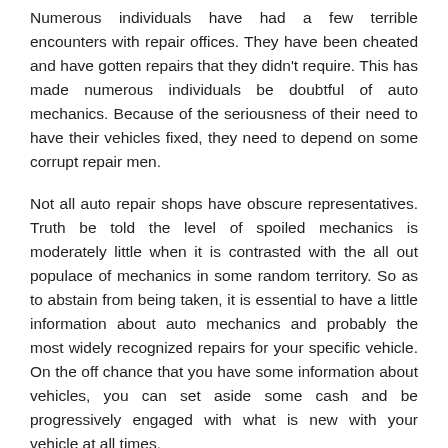Numerous individuals have had a few terrible encounters with repair offices. They have been cheated and have gotten repairs that they didn't require. This has made numerous individuals be doubtful of auto mechanics. Because of the seriousness of their need to have their vehicles fixed, they need to depend on some corrupt repair men.
Not all auto repair shops have obscure representatives. Truth be told the level of spoiled mechanics is moderately little when it is contrasted with the all out populace of mechanics in some random territory. So as to abstain from being taken, it is essential to have a little information about auto mechanics and probably the most widely recognized repairs for your specific vehicle. On the off chance that you have some information about vehicles, you can set aside some cash and be progressively engaged with what is new with your vehicle at all times.